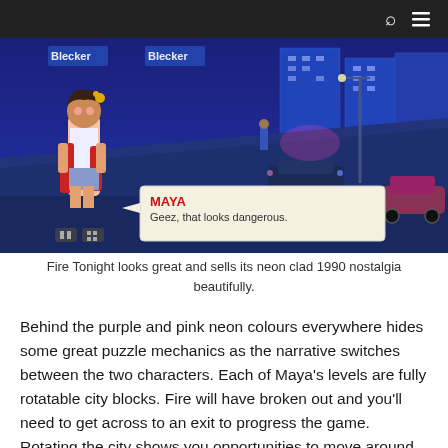[Figure (screenshot): Screenshot from the game Fire Tonight showing character Maya standing in an isometric neon-lit city street at night. A dialogue box shows the character name 'MAYA' in red and the text 'Geez, that looks dangerous.']
Fire Tonight looks great and sells its neon clad 1990 nostalgia beautifully.
Behind the purple and pink neon colours everywhere hides some great puzzle mechanics as the narrative switches between the two characters. Each of Maya's levels are fully rotatable city blocks. Fire will have broken out and you'll need to get across to an exit to progress the game. Rotating the city shows you opportunities to move around, collect keys, unlock gates and doors and progress. Over time this extends